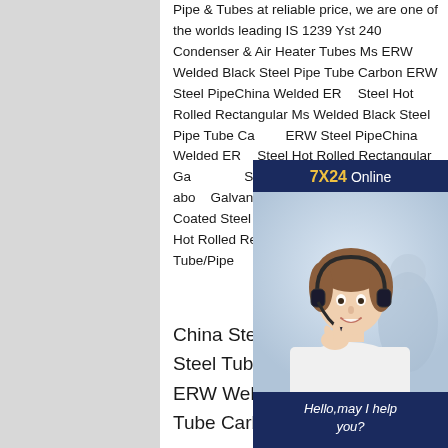Pipe & Tubes at reliable price, we are one of the worlds leading IS 1239 Yst 240 Condenser & Air Heater Tubes Ms ERW Welded Black Steel Pipe Tube Carbon ERW Steel PipeChina Welded ERW Steel Hot Rolled Rectangular Ms Welded Black Steel Pipe Tube Carbon ERW Steel PipeChina Welded ERW Steel Hot Rolled Rectangular Galvanized Steel Tube/Pipe, Find details about Galvanized Steel Pipe, Prepainted Coated Steel Pipe from Welded Black Steel Hot Rolled Rectangular Galvanized Steel Tube/Pipe
[Figure (photo): Chat widget with a customer service representative wearing a headset, smiling. Widget has a dark blue header showing '7X24 Online', a photo of the representative, a message saying 'Hello,may I help you?' and a yellow 'Get Latest Price' button.]
China Steel Pipe manufacturer, Steel Tube, Welded Steel Ms ERW Welded Black Steel Pipe Tube Carbon ERW